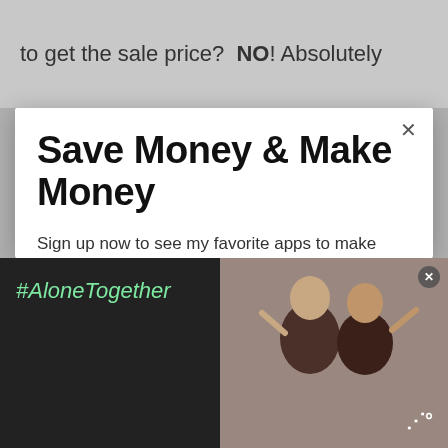to get the sale price? NO! Absolutely
Save Money & Make Money
Sign up now to see my favorite apps to make money & save money
Email address
Get It Now
[Figure (screenshot): WHAT'S NEXT banner with Home Depot Penny Items article thumbnail]
[Figure (infographic): #AloneTogether ad banner with people waving and brand logo]